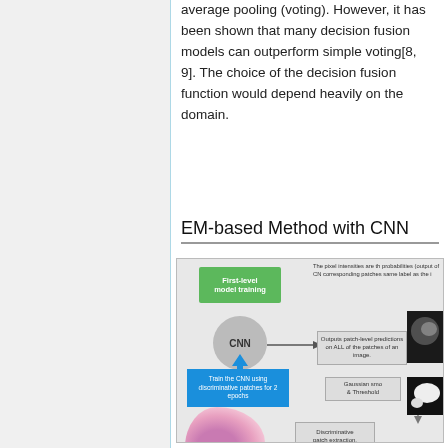average pooling (voting). However, it has been shown that many decision fusion models can outperform simple voting[8, 9]. The choice of the decision fusion function would depend heavily on the domain.
EM-based Method with CNN
[Figure (flowchart): Flowchart diagram illustrating an EM-based method with CNN. Shows First-level model training (green box), CNN circle, patch-level predictions arrow, probability image output, Gaussian smoothing and thresholding steps, discriminative area result, discriminative patch extraction, tissue image input, and training loop with blue arrow.]